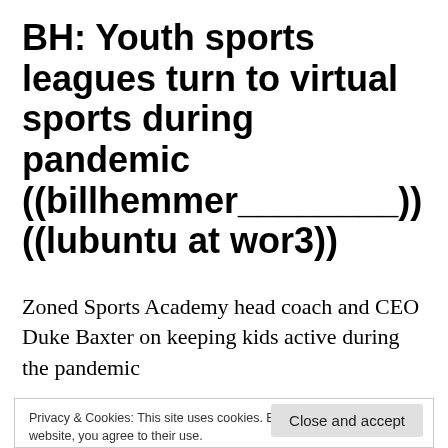BH: Youth sports leagues turn to virtual sports during pandemic ((billhemmer________)) ((lubuntu at wor3))
Zoned Sports Academy head coach and CEO Duke Baxter on keeping kids active during the pandemic
Privacy & Cookies: This site uses cookies. By continuing to use this website, you agree to their use.
To find out more, including how to control cookies, see here: Cookie Policy
Close and accept
CNNS: